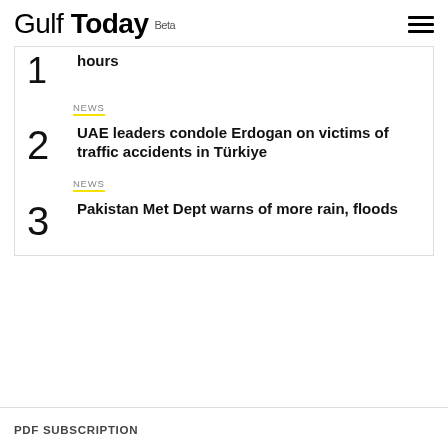Gulf Today Beta
1 hours
NEWS
2 UAE leaders condole Erdogan on victims of traffic accidents in Türkiye
NEWS
3 Pakistan Met Dept warns of more rain, floods
PDF SUBSCRIPTION